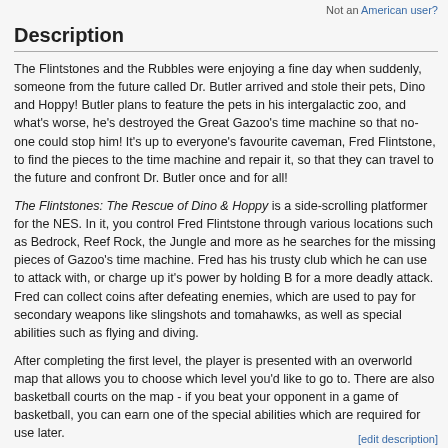Not an American user?
Description
The Flintstones and the Rubbles were enjoying a fine day when suddenly, someone from the future called Dr. Butler arrived and stole their pets, Dino and Hoppy! Butler plans to feature the pets in his intergalactic zoo, and what's worse, he's destroyed the Great Gazoo's time machine so that no-one could stop him! It's up to everyone's favourite caveman, Fred Flintstone, to find the pieces to the time machine and repair it, so that they can travel to the future and confront Dr. Butler once and for all!
The Flintstones: The Rescue of Dino & Hoppy is a side-scrolling platformer for the NES. In it, you control Fred Flintstone through various locations such as Bedrock, Reef Rock, the Jungle and more as he searches for the missing pieces of Gazoo's time machine. Fred has his trusty club which he can use to attack with, or charge up it's power by holding B for a more deadly attack. Fred can collect coins after defeating enemies, which are used to pay for secondary weapons like slingshots and tomahawks, as well as special abilities such as flying and diving.
After completing the first level, the player is presented with an overworld map that allows you to choose which level you'd like to go to. There are also basketball courts on the map - if you beat your opponent in a game of basketball, you can earn one of the special abilities which are required for use later.
[edit description]